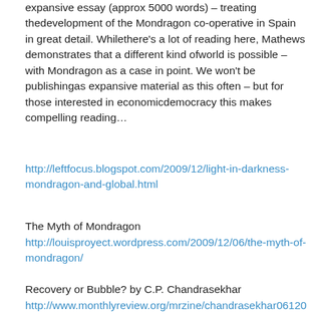expansive essay (approx 5000 words) – treating thedevelopment of the Mondragon co-operative in Spain in great detail. Whilethere's a lot of reading here, Mathews demonstrates that a different kind ofworld is possible – with Mondragon as a case in point. We won't be publishingas expansive material as this often – but for those interested in economicdemocracy this makes compelling reading…
http://leftfocus.blogspot.com/2009/12/light-in-darkness-mondragon-and-global.html
The Myth of Mondragon
http://louisproyect.wordpress.com/2009/12/06/the-myth-of-mondragon/
Recovery or Bubble? by C.P. Chandrasekhar
http://www.monthlyreview.org/mrzine/chandrasekhar06120 9.html